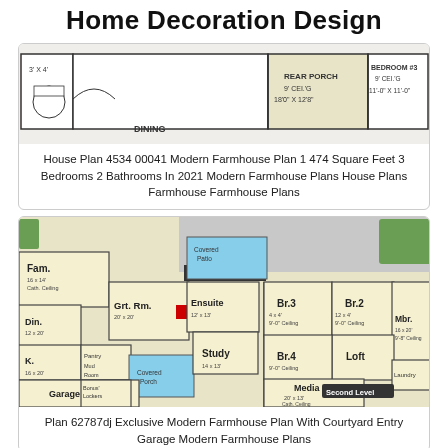Home Decoration Design
[Figure (engineering-diagram): House floor plan showing rear porch, bedroom #3, dining area, and other rooms in a modern farmhouse layout]
House Plan 4534 00041 Modern Farmhouse Plan 1 474 Square Feet 3 Bedrooms 2 Bathrooms In 2021 Modern Farmhouse Plans House Plans Farmhouse Farmhouse Plans
[Figure (engineering-diagram): Two-story modern farmhouse floor plan showing main floor with Fam., Grt. Rm., Din., K., Ensuite, Study, Covered Patio, Covered Porch, and second level with Br.2, Br.3, Br.4, Mbr., Loft, Laundry, Media, and Garage]
Plan 62787dj Exclusive Modern Farmhouse Plan With Courtyard Entry Garage Modern Farmhouse Plans